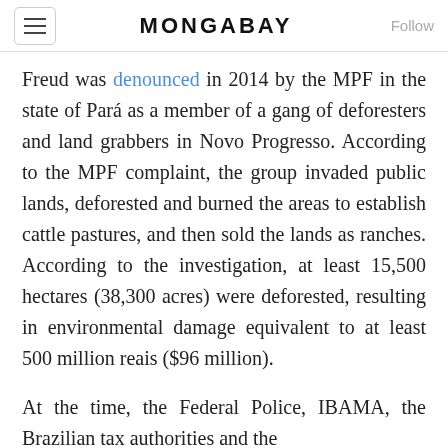MONGABAY
Freud was denounced in 2014 by the MPF in the state of Pará as a member of a gang of deforesters and land grabbers in Novo Progresso. According to the MPF complaint, the group invaded public lands, deforested and burned the areas to establish cattle pastures, and then sold the lands as ranches. According to the investigation, at least 15,500 hectares (38,300 acres) were deforested, resulting in environmental damage equivalent to at least 500 million reais ($96 million).
At the time, the Federal Police, IBAMA, the Brazilian tax authorities and the